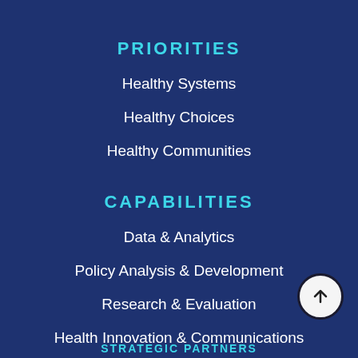PRIORITIES
Healthy Systems
Healthy Choices
Healthy Communities
CAPABILITIES
Data & Analytics
Policy Analysis & Development
Research & Evaluation
Health Innovation & Communications
STRATEGIC PARTNERS